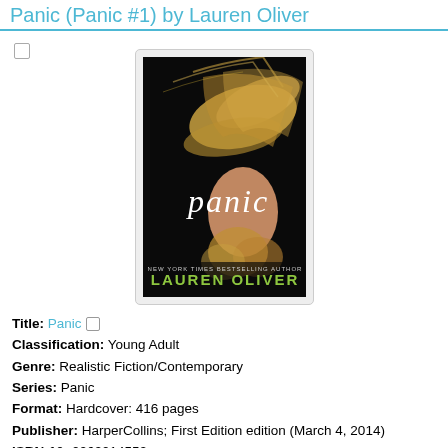Panic (Panic #1) by Lauren Oliver
[Figure (photo): Book cover of 'Panic' by Lauren Oliver showing a girl with flowing blonde hair on a black background, with the title 'panic' in white serif text and 'LAUREN OLIVER' in green text at the bottom]
Title: Panic
Classification: Young Adult
Genre: Realistic Fiction/Contemporary
Series: Panic
Format: Hardcover: 416 pages
Publisher: HarperCollins; First Edition edition (March 4, 2014)
ISBN-10: 0062014552
ISBN-13: 978-0062014559